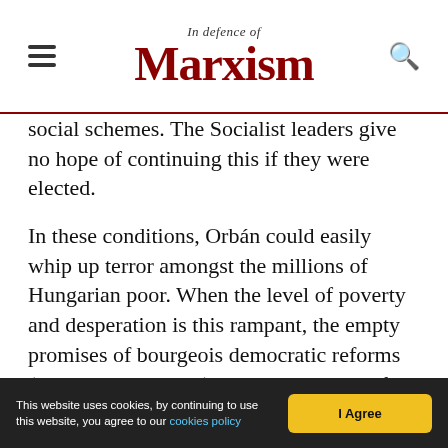In Defence of Marxism
social schemes. The Socialist leaders give no hope of continuing this if they were elected.
In these conditions, Orbán could easily whip up terror amongst the millions of Hungarian poor. When the level of poverty and desperation is this rampant, the empty promises of bourgeois democratic reforms (and they are empty), are not enough to fill the stomachs of the poor. Thus, being offered no better alternative, the poor rallied behind Fidesz out of fear. The Socialists were heavily punished, losing 13 percent compared to the previous elections. Besides a few pockets of
This website uses cookies, by continuing to use this website, you agree to our cookies policy  |  I Agree